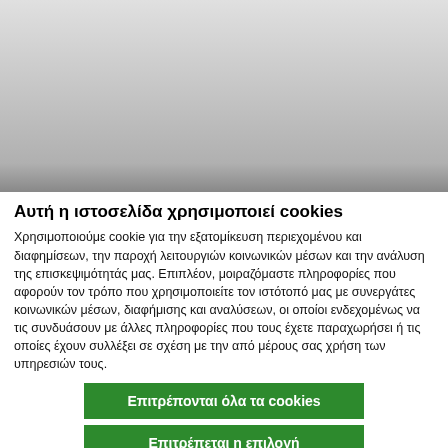[Figure (screenshot): Blurred/greyed out website content area at the top of the page, showing a dimmed background behind the cookie consent dialog]
Αυτή η ιστοσελίδα χρησιμοποιεί cookies
Χρησιμοποιούμε cookie για την εξατομίκευση περιεχομένου και διαφημίσεων, την παροχή λειτουργιών κοινωνικών μέσων και την ανάλυση της επισκεψιμότητάς μας. Επιπλέον, μοιραζόμαστε πληροφορίες που αφορούν τον τρόπο που χρησιμοποιείτε τον ιστότοπό μας με συνεργάτες κοινωνικών μέσων, διαφήμισης και αναλύσεων, οι οποίοι ενδεχομένως να τις συνδυάσουν με άλλες πληροφορίες που τους έχετε παραχωρήσει ή τις οποίες έχουν συλλέξει σε σχέση με την από μέρους σας χρήση των υπηρεσιών τους.
Επιτρέπονται όλα τα cookies
Επιτρέπεται η επιλογή
Χρησιμοποιήστε μόνο τα απαραίτητα cookies